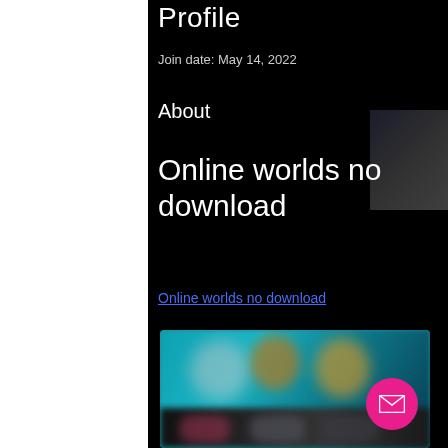Profile
Join date: May 14, 2022
About
Online worlds no download
Online worlds no download
[Figure (screenshot): Blurred screenshot showing colorful game characters with teal/cyan background and a bottom row of blurred game thumbnails. A pink/magenta circular mail button is overlaid in the bottom-right corner.]